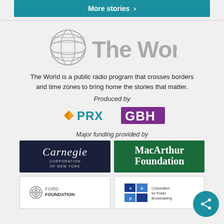[Figure (other): More stories button with teal background and white bold text and right arrow]
[Figure (logo): The World logo: globe icon and 'The World' text in gray]
The World is a public radio program that crosses borders and time zones to bring home the stories that matter.
Produced by
[Figure (logo): PRX logo with orange diamond/arrow and teal PRX text]
[Figure (logo): GBH logo in purple with white text on purple background]
Major funding provided by
[Figure (logo): Carnegie Corporation of New York logo on dark navy background]
[Figure (logo): MacArthur Foundation logo on green background with white text]
[Figure (logo): Ford Foundation logo with gray geometric icon and text]
[Figure (logo): Corporation for Public Broadcasting (cpb) logo with blue squares and text]